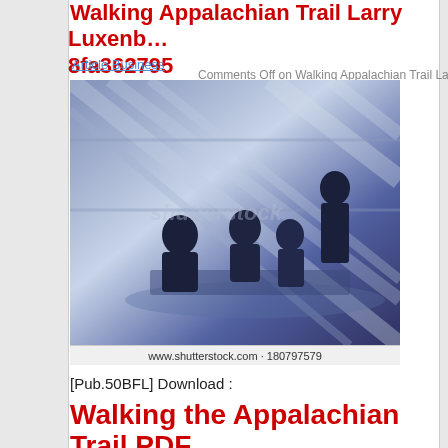Walking Appalachian Trail Larry Luxenberg 8fa362795
Article Business
Comments Off on Walking Appalachian Trail Larry Luxer…
[Figure (photo): Blue-tinted Shutterstock stock photo of silhouetted people in a meeting room with large windows. Caption: www.shutterstock.com · 180797579]
www.shutterstock.com · 180797579
[Pub.50BFL] Download :
Walking the Appalachian Trail PDF